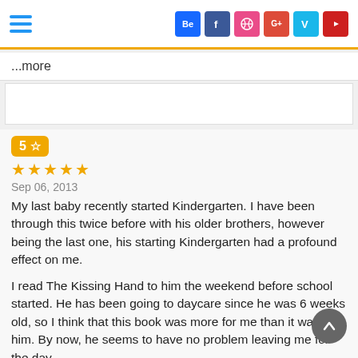Navigation bar with hamburger menu and social icons: Behance, Facebook, Dribbble, Google+, Vine, YouTube
...more
[Figure (other): Advertisement placeholder box]
5 ☆
★★★★★
Sep 06, 2013
My last baby recently started Kindergarten. I have been through this twice before with his older brothers, however being the last one, his starting Kindergarten had a profound effect on me.

I read The Kissing Hand to him the weekend before school started. He has been going to daycare since he was 6 weeks old, so I think that this book was more for me than it was for him. By now, he seems to have no problem leaving me for the day.

The story is about a little raccoon that is going off to school but My last baby recently started Kindergarten. I have been through this twice before with his older brothers, however being the last one, his starting Kindergarten had a profound effect on me.